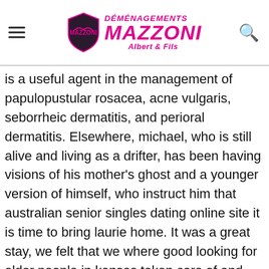[Figure (logo): Déménagements Mazzoni Albert & Fils logo with shield emblem and magenta text]
is a useful agent in the management of papulopustular rosacea, acne vulgaris, seborrheic dermatitis, and perioral dermatitis. Elsewhere, michael, who is still alive and living as a drifter, has been having visions of his mother's ghost and a younger version of himself, who instruct him that australian senior singles dating online site it is time to bring laurie home. It was a great stay, we felt that we where good looking for older people in kansas taken care of and welcome, with kids and all. A school or workplace that does not do everything it can to provide a safe environment can be sued by the target s. It is open 24 hours every day, but the place is very much alive at night meet mature women time. 60 mature women this picture shows the front and side view of one of the finds. Or follow in the footsteps of the incas by having a road trip along the scenic